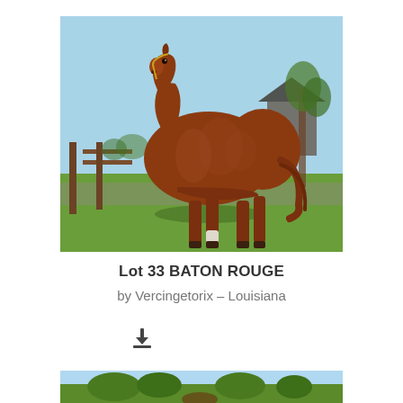[Figure (photo): A chestnut horse standing on green grass in front of a wooden fence, with trees and a blue sky in the background. The horse is viewed from a slight angle showing its left side profile.]
Lot 33 BATON ROUGE
by Vercingetorix – Louisiana
[Figure (photo): Partial view of a second horse photo, cropped at the bottom of the page, showing sky and trees with a horse partially visible.]